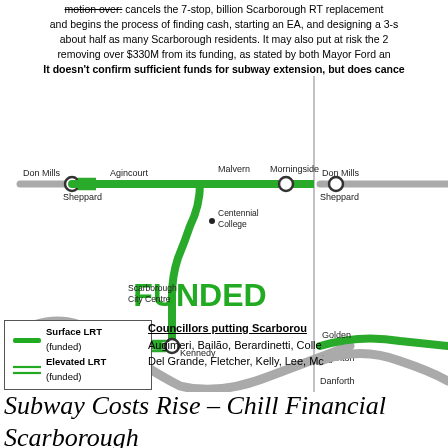motion over: cancels the 7-stop, billion Scarborough RT replacement and begins the process of finding cash, starting an EA, and designing a 3-stop ... about half as many Scarborough residents. It may also put at risk the 2... removing over $330M from its funding, as stated by both Mayor Ford and... It doesn't confirm sufficient funds for subway extension, but does cance...
[Figure (map): Transit map showing Scarborough LRT routes. Left panel shows funded routes: Sheppard line from Don Mills through Agincourt to Malvern/Morningside, connecting south via Scarborough City Centre and Centennial College to Kennedy station on Eglinton (Golden Mile). Gray curving line represents Danforth. Large green text 'FUNDED' overlaid. Right panel partial view shows similar geography. Vertical dividing line separates panels.]
Surface LRT (funded)
Elevated LRT (funded)
Councillors putting Scarborou... Augimeri, Bailão, Berardinetti, Colle... Del Grande, Fletcher, Kelly, Lee, Mc...
Subway Costs Rise – Chill Financial... Scarborough